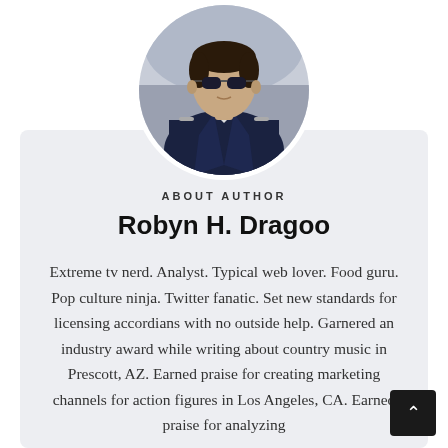[Figure (photo): Circular cropped photo of a young man wearing sunglasses and a navy blue varsity jacket, outdoor background]
ABOUT AUTHOR
Robyn H. Dragoo
Extreme tv nerd. Analyst. Typical web lover. Food guru. Pop culture ninja. Twitter fanatic. Set new standards for licensing accordians with no outside help. Garnered an industry award while writing about country music in Prescott, AZ. Earned praise for creating marketing channels for action figures in Los Angeles, CA. Earned praise for analyzing